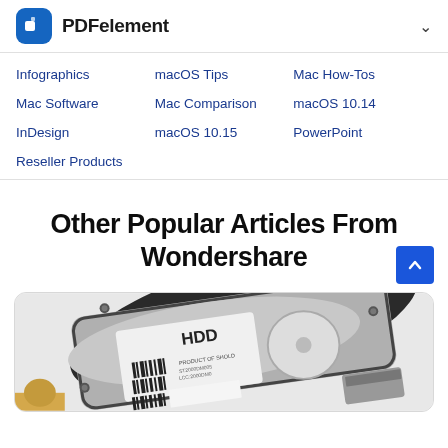PDFelement
Infographics
macOS Tips
Mac How-Tos
Mac Software
Mac Comparison
macOS 10.14
InDesign
macOS 10.15
PowerPoint
Reseller Products
Other Popular Articles From Wondershare
[Figure (photo): A photograph of an HDD (hard disk drive) component viewed from above at an angle, showing the metal casing, label with HDD text and barcodes, and internal disk platter visible.]